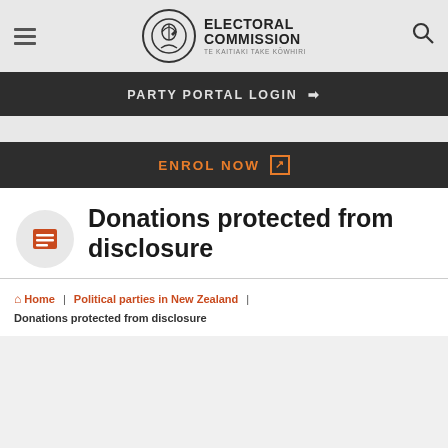Electoral Commission Te Kaitiaki Take Kōwhiri
PARTY PORTAL LOGIN ➜
ENROL NOW ↗
Donations protected from disclosure
🏠 Home | Political parties in New Zealand | Donations protected from disclosure